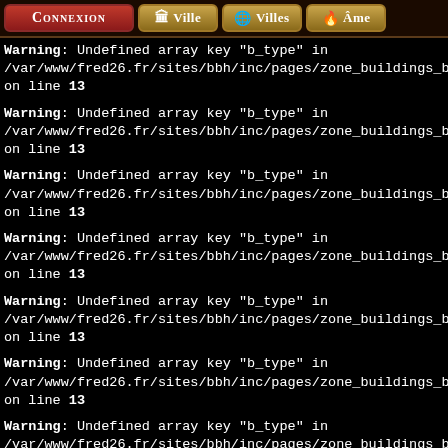Connexion | Ville | Villes | Âme
Warning: Undefined array key "b_type" in /var/www/fred26.fr/sites/bbh/inc/pages/zone_buildings_body.inc.php on line 13
Warning: Undefined array key "b_type" in /var/www/fred26.fr/sites/bbh/inc/pages/zone_buildings_body.inc.php on line 13
Warning: Undefined array key "b_type" in /var/www/fred26.fr/sites/bbh/inc/pages/zone_buildings_body.inc.php on line 13
Warning: Undefined array key "b_type" in /var/www/fred26.fr/sites/bbh/inc/pages/zone_buildings_body.inc.php on line 13
Warning: Undefined array key "b_type" in /var/www/fred26.fr/sites/bbh/inc/pages/zone_buildings_body.inc.php on line 13
Warning: Undefined array key "b_type" in /var/www/fred26.fr/sites/bbh/inc/pages/zone_buildings_body.inc.php on line 13
Warning: Undefined array key "b_type" in /var/www/fred26.fr/sites/bbh/inc/pages/zone_buildings_body.inc.php on line 13